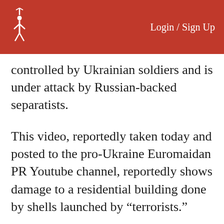Login / Sign Up
controlled by Ukrainian soldiers and is under attack by Russian-backed separatists.
This video, reportedly taken today and posted to the pro-Ukraine Euromaidan PR Youtube channel, reportedly shows damage to a residential building done by shells launched by “terrorists.”
The video shows the address of the building which is at 11 Batishcheva